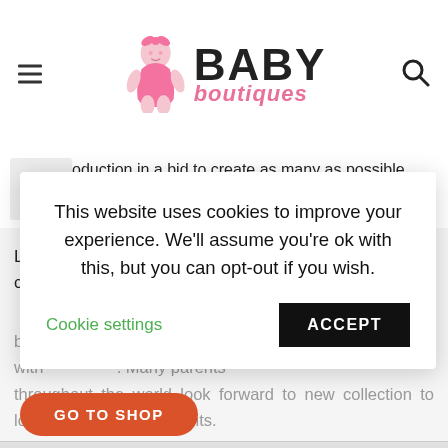Baby Boutiques
oduction in a bid to create as many as possible hionable things for little chics.
Let's see what is available online from their versatile collection:
This website uses cookies to improve your experience. We'll assume you're ok with this, but you can opt-out if you wish.
Cookie settings  ACCEPT
be essentials for ave such fun and es together with . Many parents throughout the world look forward to new collection to loveliest designs and prints.
GO TO SHOP